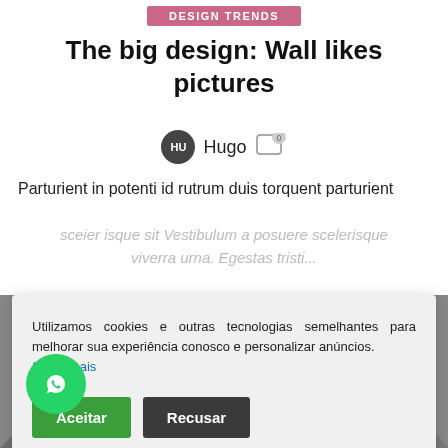DESIGN TRENDS
The big design: Wall likes pictures
Hugo
Parturient in potenti id rutrum duis torquent parturient sceier isque sit Vestibulum a posuere scelerisque viverra urna. Egestas tristi...
Utilizamos cookies e outras tecnologias semelhantes para melhorar sua experiência conosco e personalizar anúncios. Saiba mais
Aceitar
Recusar
[Figure (other): WhatsApp chat button, green circle with speech bubble icon]
[Figure (illustration): Gray mountain/triangle shapes on gray background]